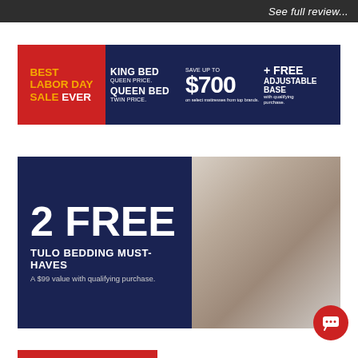See full review...
[Figure (infographic): Labor Day mattress sale advertisement banner. Left red section: BEST LABOR DAY SALE EVER. Right navy section: KING BED QUEEN PRICE. QUEEN BED TWIN PRICE. SAVE UP TO $700 on select mattresses from top brands. + FREE ADJUSTABLE BASE with qualifying purchase.]
[Figure (infographic): Mattress Firm promotion banner. Navy left side: 2 FREE TULO BEDDING MUST-HAVES. A $99 value with qualifying purchase. Right side: photo of a woman sleeping on white bedding.]
[Figure (infographic): Partial red strip at bottom of page, beginning of another advertisement.]